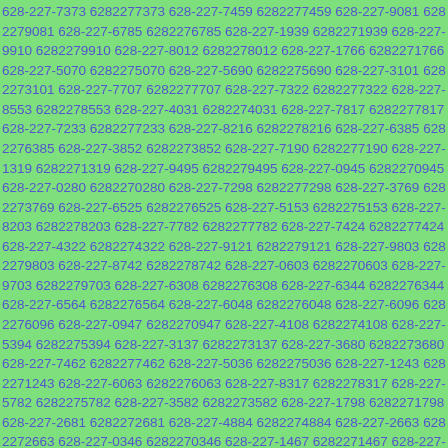628-227-7373 6282277373 628-227-7459 6282277459 628-227-9081 6282279081 628-227-6785 6282276785 628-227-1939 6282271939 628-227-9910 6282279910 628-227-8012 6282278012 628-227-1766 6282271766 628-227-5070 6282275070 628-227-5690 6282275690 628-227-3101 6282273101 628-227-7707 6282277707 628-227-7322 6282277322 628-227-8553 6282278553 628-227-4031 6282274031 628-227-7817 6282277817 628-227-7233 6282277233 628-227-8216 6282278216 628-227-6385 6282276385 628-227-3852 6282273852 628-227-7190 6282277190 628-227-1319 6282271319 628-227-9495 6282279495 628-227-0945 6282270945 628-227-0280 6282270280 628-227-7298 6282277298 628-227-3769 6282273769 628-227-6525 6282276525 628-227-5153 6282275153 628-227-8203 6282278203 628-227-7782 6282277782 628-227-7424 6282277424 628-227-4322 6282274322 628-227-9121 6282279121 628-227-9803 6282279803 628-227-8742 6282278742 628-227-0603 6282270603 628-227-9703 6282279703 628-227-6308 6282276308 628-227-6344 6282276344 628-227-6564 6282276564 628-227-6048 6282276048 628-227-6096 6282276096 628-227-0947 6282270947 628-227-4108 6282274108 628-227-5394 6282275394 628-227-3137 6282273137 628-227-3680 6282273680 628-227-7462 6282277462 628-227-5036 6282275036 628-227-1243 6282271243 628-227-6063 6282276063 628-227-8317 6282278317 628-227-5782 6282275782 628-227-3582 6282273582 628-227-1798 6282271798 628-227-2681 6282272681 628-227-4884 6282274884 628-227-2663 6282272663 628-227-0346 6282270346 628-227-1467 6282271467 628-227-5421 6282275421 628-227-0516